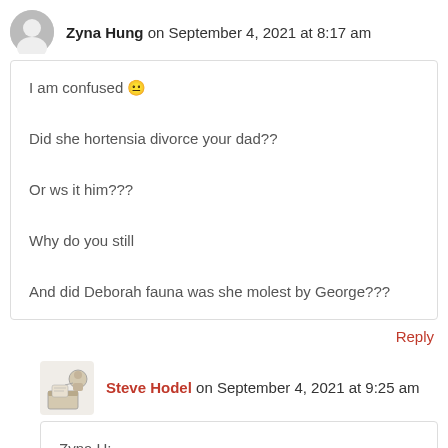Zyna Hung on September 4, 2021 at 8:17 am
I am confused 🤔

Did she hortensia divorce your dad??

Or ws it him???

Why do you still

And did Deborah fauna was she molest by George???
Reply
Steve Hodel on September 4, 2021 at 9:25 am
Zyna H:
Yes. Hortensia was a devote Catholic and obtained a dispensation from the Pope.
Deborah (Fauna)...